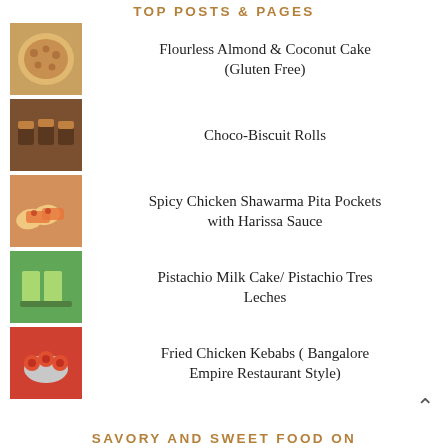TOP POSTS & PAGES
Flourless Almond & Coconut Cake (Gluten Free)
Choco-Biscuit Rolls
Spicy Chicken Shawarma Pita Pockets with Harissa Sauce
Pistachio Milk Cake/ Pistachio Tres Leches
Fried Chicken Kebabs ( Bangalore Empire Restaurant Style)
SAVORY AND SWEET FOOD ON